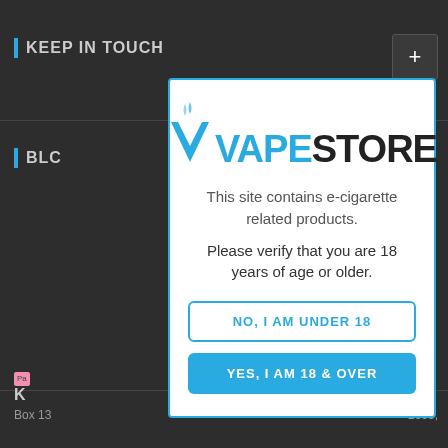KEEP IN TOUCH
BLO...
[Figure (screenshot): Age verification modal popup for VapeStore website. The modal shows the VapeStore logo (blue stylized V with smoke and 'VAPESTORE' text), a message about e-cigarette products, and two buttons: 'NO, I AM UNDER 18' (outlined) and 'YES, I AM 18 & OVER' (filled blue). Background shows dark website navigation.]
NO, I AM UNDER 18
YES, I AM 18 & OVER
Box 13
2603,